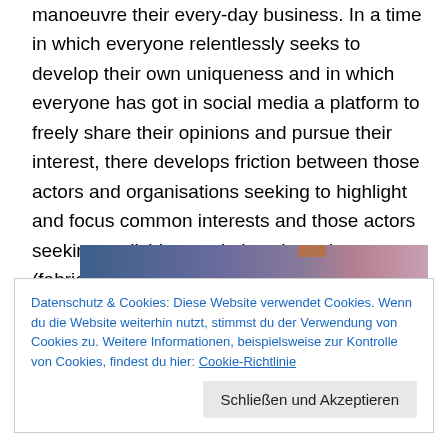manoeuvre their every-day business. In a time in which everyone relentlessly seeks to develop their own uniqueness and in which everyone has got in social media a platform to freely share their opinions and pursue their interest, there develops friction between those actors and organisations seeking to highlight and focus common interests and those actors seeking to divide populations based on (fabricated) differences for their very own advantage.
[Figure (photo): Partial image visible behind cookie consent banner — a gradient strip with blue, purple, and pink hues with a small orange/brown element visible.]
Datenschutz & Cookies: Diese Website verwendet Cookies. Wenn du die Website weiterhin nutzt, stimmst du der Verwendung von Cookies zu. Weitere Informationen, beispielsweise zur Kontrolle von Cookies, findest du hier: Cookie-Richtlinie
Schließen und Akzeptieren